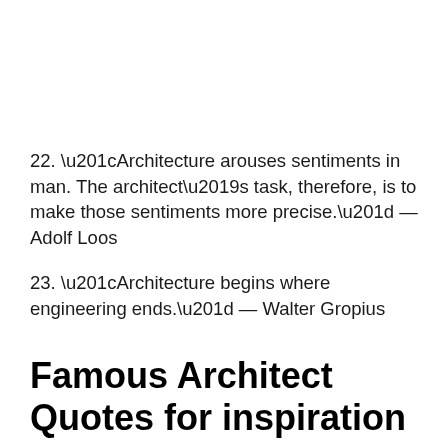22. “Architecture arouses sentiments in man. The architect’s task, therefore, is to make those sentiments more precise.” — Adolf Loos
23. “Architecture begins where engineering ends.” — Walter Gropius
Famous Architect Quotes for inspiration